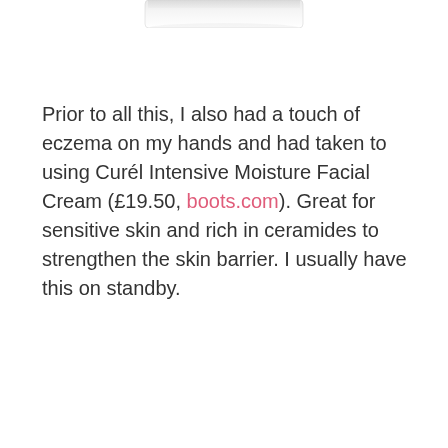[Figure (photo): Top portion of a white cylindrical cream jar/container, partially visible at the top of the page]
Prior to all this, I also had a touch of eczema on my hands and had taken to using Curél Intensive Moisture Facial Cream (£19.50, boots.com). Great for sensitive skin and rich in ceramides to strengthen the skin barrier. I usually have this on standby.